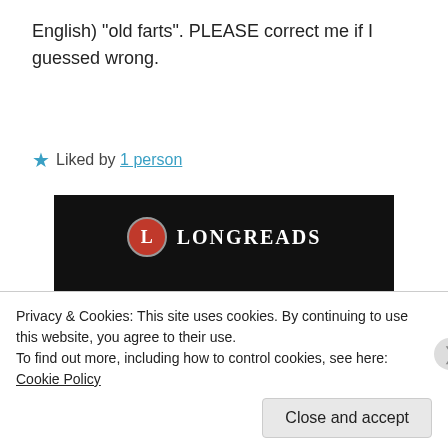English) “old farts”. PLEASE correct me if I guessed wrong.
★ Liked by 1 person
[Figure (screenshot): Longreads advertisement banner with dark background, Longreads logo, headline 'Read anything great lately?' and a red 'Start reading' button.]
Privacy & Cookies: This site uses cookies. By continuing to use this website, you agree to their use.
To find out more, including how to control cookies, see here: Cookie Policy
Close and accept